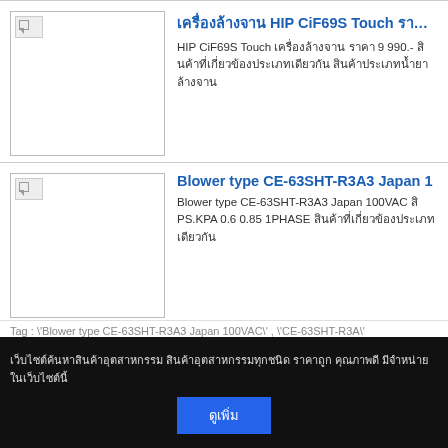[Figure (photo): Product thumbnail image placeholder (broken image icon) for HIP CiF69S Touch]
เครื่องล้างจาน HIP CiF69S Touch ราคา 9
HIP CiF69S Touch เครื่องล้างจาน ราคา 9 990.- สินค้าที่เกี่ยวข้องประเภทเดียวกัน สินค้าประเภทน้ำยาล้างจาน
[Figure (photo): Product thumbnail image placeholder (broken image icon) for Blower type CE-63SHT-R3A3]
Blower type CE-63SHT-R3A3 Japan 1
Blower type CE-63SHT-R3A3 Japan 100VAC สินค้า PS.KPA 0.6 0.85 1PHASE สินค้าที่เกี่ยวข้องประเภทเดียวกัน
Tag : \'Blower type CE-63SHT-R3A3 Japan 100VAC\' , \'CE-63SHT-R3A3\'
[Figure (photo): Product thumbnail image placeholder (broken image icon) for SGK Pearl Rotary Joint]
SGK Pearl Rotary Joint SKCL 15A RH
Rotor- Rotor Thread Connection G1 2- Thread D Max. Temperature 100 C- Max. Pressure 0.98M
เว็บไซต์ค้นหาสินค้าอุตสาหกรรม สินค้าอุตสาหกรรมทุกชนิด ราคาถูก คุณภาพดี มีจำหน่ายในเว็บไซต์นี้
ดูเพิ่ม